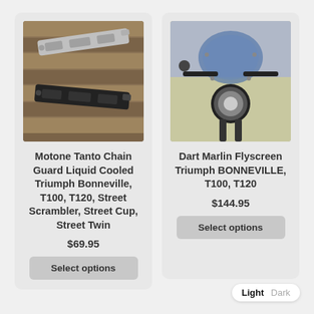[Figure (photo): Two metal chain guard brackets (one silver, one black) placed on wooden planks]
Motone Tanto Chain Guard Liquid Cooled Triumph Bonneville, T100, T120, Street Scrambler, Street Cup, Street Twin
$69.95
Select options
[Figure (photo): Front view of a Triumph motorcycle with dark flyscreen/windshield fitted, outdoors in a field]
Dart Marlin Flyscreen Triumph BONNEVILLE, T100, T120
$144.95
Select options